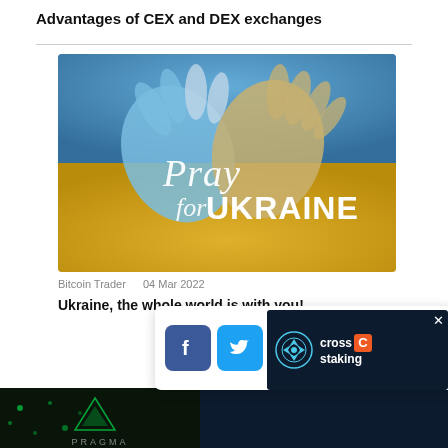Advantages of CEX and DEX exchanges
[Figure (illustration): Clasped praying hands colored in blue and yellow Ukrainian flag colors with text 'Pray for UKRAINE' overlaid in white cursive and bold fonts]
Bitcoin Trader   04 Mar 2022
Ukraine, the whole world is with you!
[Figure (infographic): Social share bar with Facebook, Twitter, Telegram, and Pocket icons, and a Cross Staking advertisement with close button]
[Figure (screenshot): Bottom partial image strip showing dark background with 'PRAGMA' text partially visible]